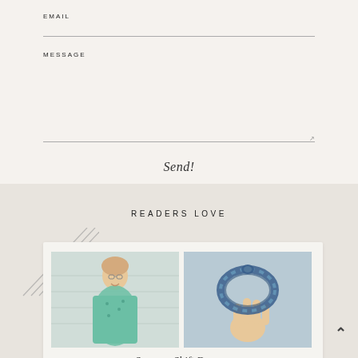EMAIL
MESSAGE
Send!
READERS LOVE
[Figure (illustration): A card with two images side by side: a woman in a teal patterned dress and a hand holding a blue gingham fabric headband, with diagonal decorative lines in the background. Caption reads 'Summer Shift Dresses'.]
Summer Shift Dresses